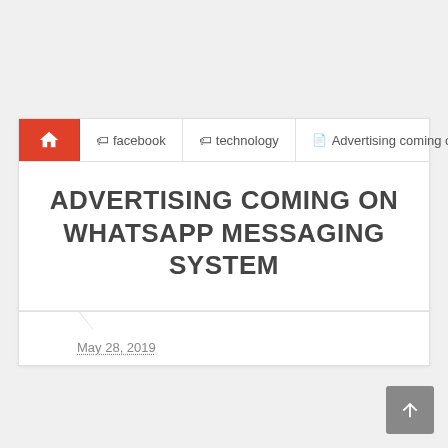🏠 facebook  technology  Advertising coming on
ADVERTISING COMING ON WHATSAPP MESSAGING SYSTEM
May 28, 2019